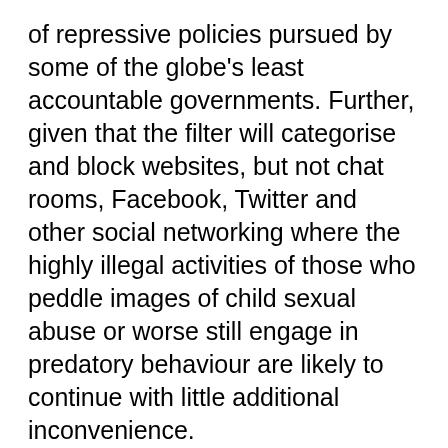of repressive policies pursued by some of the globe's least accountable governments. Further, given that the filter will categorise and block websites, but not chat rooms, Facebook, Twitter and other social networking where the highly illegal activities of those who peddle images of child sexual abuse or worse still engage in predatory behaviour are likely to continue with little additional inconvenience.
The scheme is opposed by child welfare charities, civil liberty groups and professional bodies - and with good reason.
OK that's a long winded way of saying, Government has no right to impose such censorship without guarantees that the sites censored are indeed pornographic